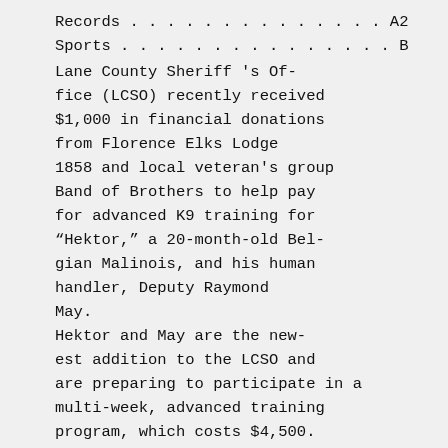Records . . . . . . . . . . . . . . A2
Sports . . . . . . . . . . . . . . . B
Lane County Sheriff 's Of-fice (LCSO) recently received $1,000 in financial donations from Florence Elks Lodge 1858 and local veteran's group Band of Brothers to help pay for advanced K9 training for “Hektor,” a 20-month-old Belgian Malinois, and his human handler, Deputy Raymond May.
Hektor and May are the newest addition to the LCSO and are preparing to participate in a multi-week, advanced training program, which costs $4,500. Sharon and Tom Armstrong are members of the Elks Lodge, and they decided to try to contribute to the costs associated with the additional training after seeing a press release de-